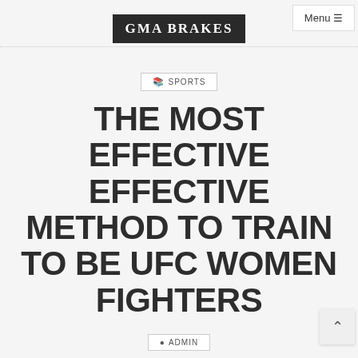GMA BRAKES
Menu
SPORTS
THE MOST EFFECTIVE METHOD TO TRAIN TO BE UFC WOMEN FIGHTERS
ADMIN